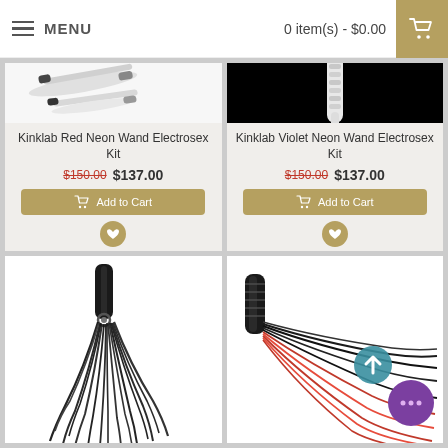MENU  |  0 item(s) - $0.00
Kinklab Red Neon Wand Electrosex Kit
$150.00  $137.00
Kinklab Violet Neon Wand Electrosex Kit
$150.00  $137.00
[Figure (photo): Black leather flogger whip with multiple strands]
[Figure (photo): Black and pink leather flogger whip with handle]